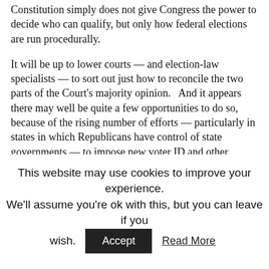Constitution simply does not give Congress the power to decide who can qualify, but only how federal elections are run procedurally.
It will be up to lower courts — and election-law specialists — to sort out just how to reconcile the two parts of the Court's majority opinion.   And it appears there may well be quite a few opportunities to do so, because of the rising number of efforts — particularly in states in which Republicans have control of state governments — to impose new voter ID and other restrictions on the right to vote.
If the Arizona ruling turns out, in the future, to widen the power of states to limit the right to vote, the decision might turn out to have been far more decisive than its internal contradictions suggested on first
This website may use cookies to improve your experience. We'll assume you're ok with this, but you can leave if you wish.